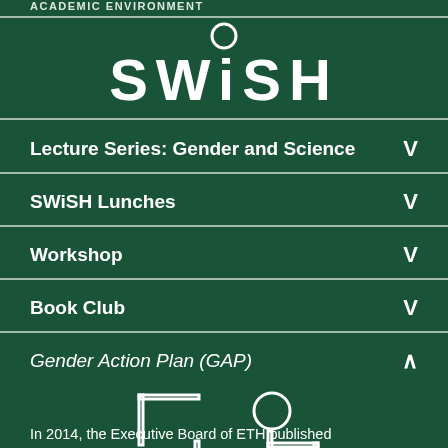academic environment
[Figure (logo): SWiSH logo with circle above the i, displayed large in white on dark green background]
Lecture Series: Gender and Science  ∨
SWiSH Lunches  ∨
Workshop  ∨
Book Club  ∨
Gender Action Plan (GAP)  ∧
[Figure (illustration): White line-art illustration of two stick figures representing people, with a table/desk shape in the middle, and the word MENU overlaid at the bottom]
In 2014, the Executive Board of ETH published